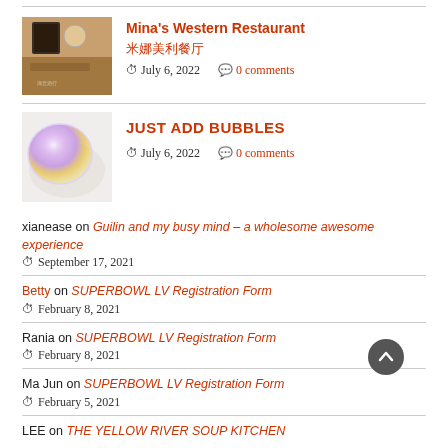[Figure (photo): Photo of beverages/drinks at a restaurant table with text visible]
Mina's Western Restaurant
米娜美利餐厅
July 6, 2022   0 comments
[Figure (photo): Photo of a iridescent bubble-like sphere with purple and yellow hues]
JUST ADD BUBBLES
July 6, 2022   0 comments
xianease on Guilin and my busy mind – a wholesome awesome experience
September 17, 2021
Betty on SUPERBOWL LV Registration Form
February 8, 2021
Rania on SUPERBOWL LV Registration Form
February 8, 2021
Ma Jun on SUPERBOWL LV Registration Form
February 5, 2021
LEE on THE YELLOW RIVER SOUP KITCHEN